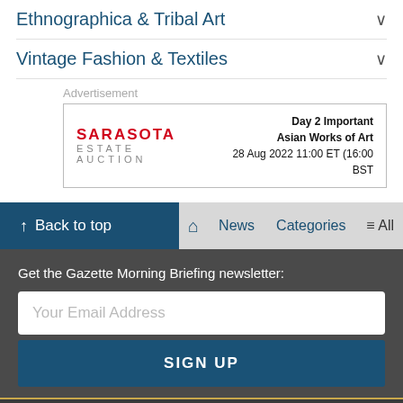Ethnographica & Tribal Art
Vintage Fashion & Textiles
Advertisement
[Figure (other): Sarasota Estate Auction advertisement: Day 2 Important Asian Works of Art, 28 Aug 2022 11:00 ET (16:00 BST)]
Back to top   News   Categories   All
Get the Gazette Morning Briefing newsletter:
Your Email Address
SIGN UP
[Figure (logo): Antiques Trade Gazette logo — partial, bottom of page]